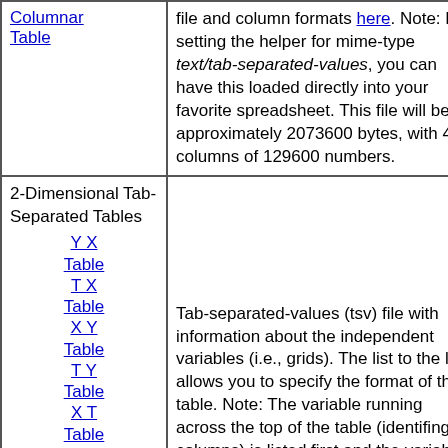| Columnar Table | file and column formats here. Note: By setting the helper for mime-type text/tab-separated-values, you can have this loaded directly into your favorite spreadsheet. This file will be approximately 2073600 bytes, with 4 columns of 129600 numbers. |
| 2-Dimensional Tab-Separated Tables
Y X Table
T X Table
X Y Table
T Y Table
X T Table
Y T | Tab-separated-values (tsv) file with information about the independent variables (i.e., grids). The list to the left allows you to specify the format of the table. Note: The variable running across the top of the table (identifing columns) is listed first and the variable running down the side of the table (identifing rows) is listed second. |